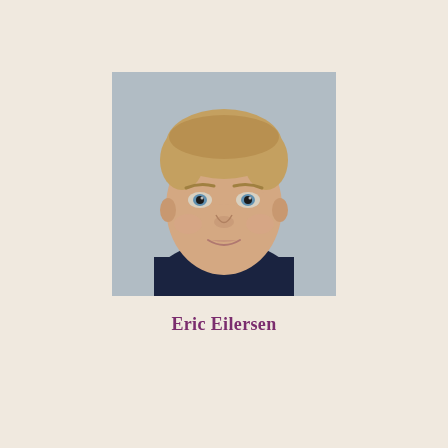[Figure (photo): Headshot portrait of a young man with blonde hair and blue eyes, wearing a dark navy shirt, photographed against a light gray background. He is smiling slightly and looking directly at the camera.]
Eric Eilersen